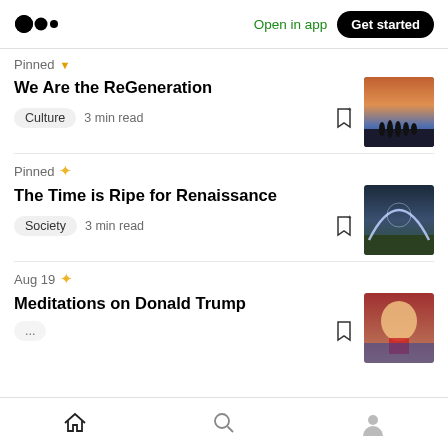Medium app header — logo, Open in app, Get started
Pinned
We Are the ReGeneration
Culture  3 min read
[Figure (photo): Group of people silhouetted against a dramatic sunset sky]
Pinned
The Time is Ripe for Renaissance
Society  3 min read
[Figure (photo): Dome or arc of light over a green landscape at dusk]
Aug 19
Meditations on Donald Trump
[Figure (photo): Photo of Donald Trump]